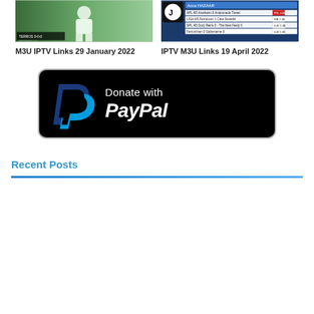[Figure (photo): Thumbnail image of a man in white polo shirt on a green sports field background, with score overlay at bottom left. Caption: M3U IPTV Links 29 January 2022]
M3U IPTV Links 29 January 2022
[Figure (screenshot): Thumbnail screenshot of Juventus IPTV stream with match data overlay, betting odds table visible. Caption: IPTV M3U Links 19 April 2022]
IPTV M3U Links 19 April 2022
[Figure (logo): Donate with PayPal button — black rounded rectangle with PayPal logo (blue P) on the left and white text 'Donate with PayPal' on the right]
Recent Posts